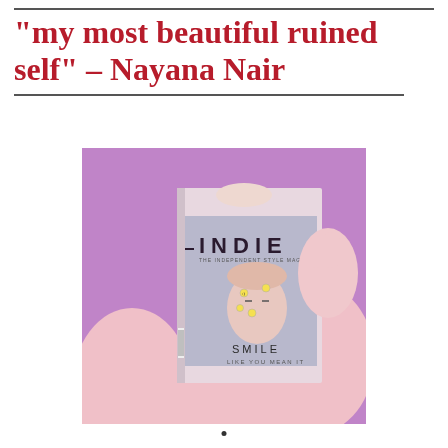"my most beautiful ruined self" – Nayana Nair
[Figure (photo): A person in a pink sweatshirt holding up an INDIE magazine cover in front of their face. The magazine cover shows a model with smiley face stickers on her face and the text 'SMILE LIKE YOU MEAN IT'. The background is purple/lavender.]